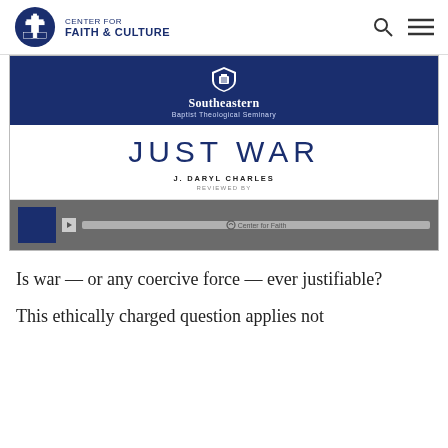CENTER FOR FAITH & CULTURE
[Figure (screenshot): Video thumbnail showing Southeastern Baptist Theological Seminary branding with 'JUST WAR' title by J. Daryl Charles, with video player controls and a progress bar labeled 'Center for Faith']
Is war — or any coercive force — ever justifiable?
This ethically charged question applies not